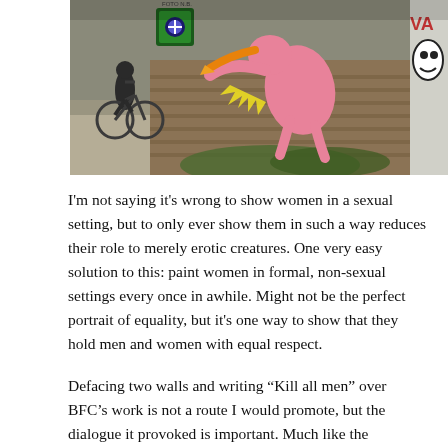[Figure (photo): Photograph of street art/graffiti on a brick wall along a canal or path. A person on a bicycle rides past. The graffiti depicts a pink cartoon figure in a crouching pose with orange and yellow elements, comic-book style. Additional black-and-white graffiti is visible on the far right edge.]
I'm not saying it's wrong to show women in a sexual setting, but to only ever show them in such a way reduces their role to merely erotic creatures. One very easy solution to this: paint women in formal, non-sexual settings every once in awhile. Might not be the perfect portrait of equality, but it's one way to show that they hold men and women with equal respect.
Defacing two walls and writing “Kill all men” over BFC’s work is not a route I would promote, but the dialogue it provoked is important. Much like the commenters on BFC’s Facebook page, I hope they continue to...